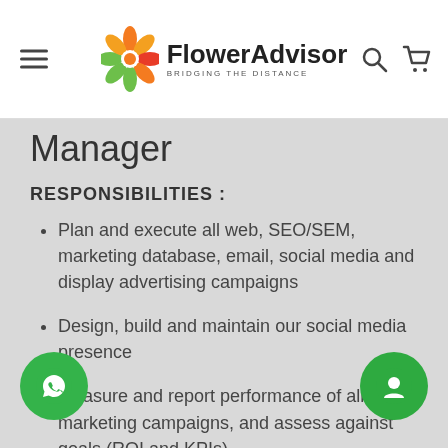FlowerAdvisor — BRIDGING THE DISTANCE
Manager
RESPONSIBILITIES :
Plan and execute all web, SEO/SEM, marketing database, email, social media and display advertising campaigns
Design, build and maintain our social media presence
Measure and report performance of all digital marketing campaigns, and assess against goals (ROI and KPIs)